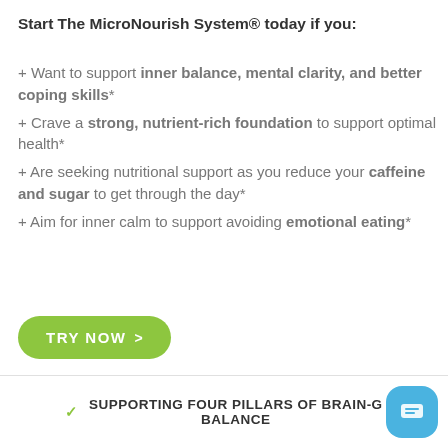Start The MicroNourish System® today if you:
+ Want to support inner balance, mental clarity, and better coping skills*
+ Crave a strong, nutrient-rich foundation to support optimal health*
+ Are seeking nutritional support as you reduce your caffeine and sugar to get through the day*
+ Aim for inner calm to support avoiding emotional eating*
[Figure (other): Green rounded button with text TRY NOW and a right arrow]
SUPPORTING FOUR PILLARS OF BRAIN-C BALANCE